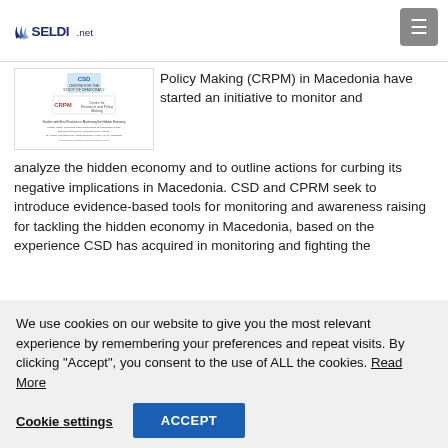SELDI.net
[Figure (screenshot): Screenshot of a document thumbnail showing CSD and CRPM logos with text about Best Practices in Monitoring the Hidden Economy]
Policy Making (CRPM) in Macedonia have started an initiative to monitor and analyze the hidden economy and to outline actions for curbing its negative implications in Macedonia. CSD and CPRM seek to introduce evidence-based tools for monitoring and awareness raising for tackling the hidden economy in Macedonia, based on the experience CSD has acquired in monitoring and fighting the
We use cookies on our website to give you the most relevant experience by remembering your preferences and repeat visits. By clicking “Accept”, you consent to the use of ALL the cookies. Read More
Cookie settings  ACCEPT